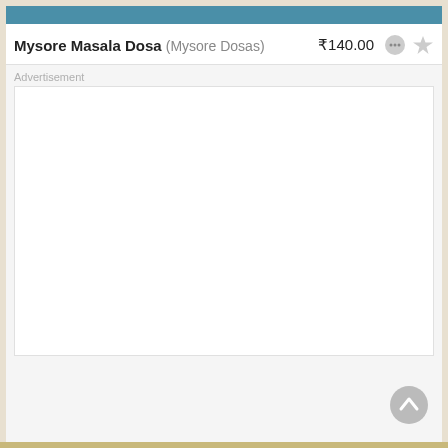Mysore Masala Dosa (Mysore Dosas) ₹140.00
Advertisement
[Figure (other): Empty white advertisement box placeholder]
[Figure (other): Scroll-to-top button, circular grey arrow icon]